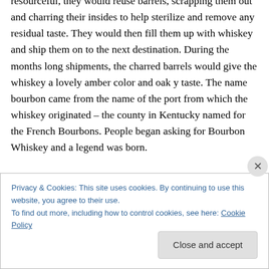making), and farming. Because our fermenters were resourceful, they would reuse barrels, scrapping them out and charring their insides to help sterilize and remove any residual taste. They would then fill them up with whiskey and ship them on to the next destination. During the months long shipments, the charred barrels would give the whiskey a lovely amber color and oaky taste. The name bourbon came from the name of the port from which the whiskey originated – the county in Kentucky named for the French Bourbons. People began asking for Bourbon Whiskey and a legend was born.
Privacy & Cookies: This site uses cookies. By continuing to use this website, you agree to their use.
To find out more, including how to control cookies, see here: Cookie Policy